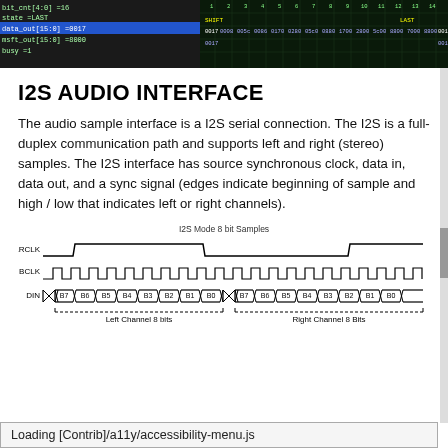[Figure (screenshot): Digital logic waveform analyzer screenshot showing signals: bit_cnt[4:0]=16, state=LAST, data_out[15:0]=0017, msft_out[15:0]=8000, busy=1. Dark green/black background with colored signal traces and labels.]
I2S AUDIO INTERFACE
The audio sample interface is a I2S serial connection. The I2S is a full-duplex communication path and supports left and right (stereo) samples. The I2S interface has source synchronous clock, data in, data out, and a sync signal (edges indicate beginning of sample and high / low that indicates left or right channels).
[Figure (engineering-diagram): I2S Mode 8 bit Samples timing diagram showing three signals: LRCLK (low-high-low waveform), BCLK (clock pulses), and DIN (data bits B7 through B0 for Left Channel 8 bits and Right Channel 8 Bits). Left Channel and Right Channel labeled with dotted bracket lines below.]
Loading [Contrib]/a11y/accessibility-menu.js